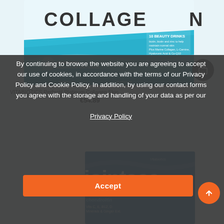[Figure (photo): Vitabiotics Perfectil Platinum Collagen product box, white and teal/blue packaging, partially cropped at top]
VITABIOTICS Perfectil Platinum Collagen Skin ...
€54.89
By continuing to browse the website you are agreeing to accept our use of cookies, in accordance with the terms of our Privacy Policy and Cookie Policy. In addition, by using our contact forms you agree with the storage and handling of your data as per our Privacy Policy
Accept
[Figure (photo): Vitabiotics Jointace product box, glucosamine chondroitin, partially visible at bottom]